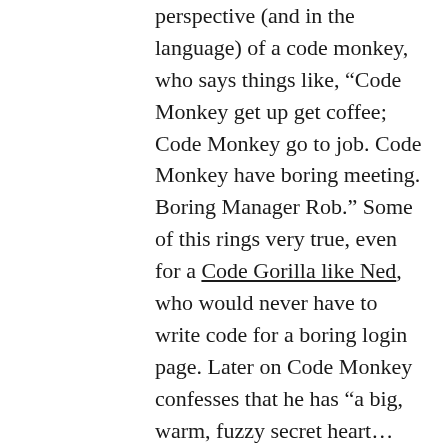perspective (and in the language) of a code monkey, who says things like, “Code Monkey get up get coffee; Code Monkey go to job. Code Monkey have boring meeting. Boring Manager Rob.” Some of this rings very true, even for a Code Gorilla like Ned, who would never have to write code for a boring login page. Later on Code Monkey confesses that he has “a big, warm, fuzzy secret heart…Code Monkey like you.” Code Monkey likes the girl at the front desk, likes her